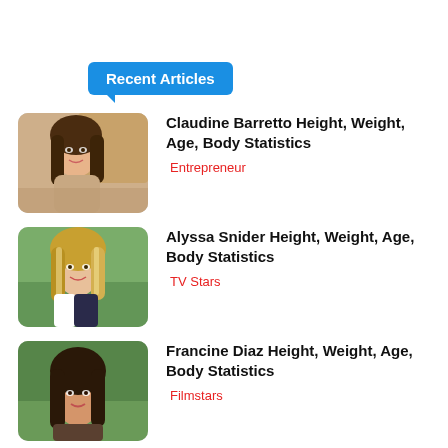Recent Articles
Claudine Barretto Height, Weight, Age, Body Statistics
Entrepreneur
[Figure (photo): Photo of Claudine Barretto, a woman with long dark hair sitting in front of a wicker chair]
Alyssa Snider Height, Weight, Age, Body Statistics
TV Stars
[Figure (photo): Photo of Alyssa Snider, a woman with long blonde highlighted hair outdoors]
Francine Diaz Height, Weight, Age, Body Statistics
Filmstars
[Figure (photo): Photo of Francine Diaz, a woman with long dark hair outdoors with greenery in background]